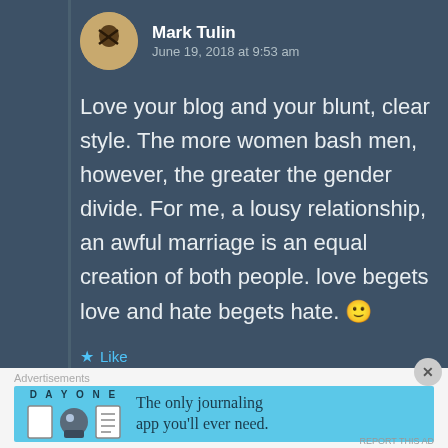Mark Tulin
June 19, 2018 at 9:53 am
Love your blog and your blunt, clear style. The more women bash men, however, the greater the gender divide. For me, a lousy relationship, an awful marriage is an equal creation of both people. love begets love and hate begets hate. 🙂
Like
Reply
Advertisements
[Figure (infographic): Day One journaling app advertisement banner with icons and text 'The only journaling app you'll ever need.']